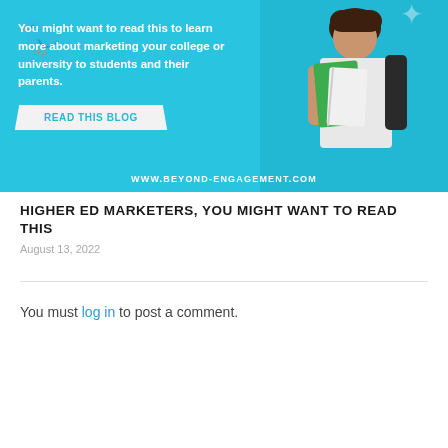[Figure (illustration): Blue banner image showing a female student holding green notebooks, with text overlay: 'You might want to read this to learn more about marketing your college or university to students and their parents.' A 'READ THIS BLOG' button and website URL www.beyond-engagement.com at the bottom.]
HIGHER ED MARKETERS, YOU MIGHT WANT TO READ THIS
August 13, 2022
You must log in to post a comment.